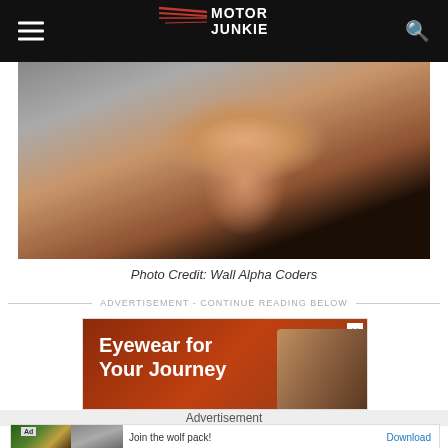[Figure (logo): Motor Junkie logo in white text with red speed-lines graphic on black header bar]
[Figure (photo): Close-up photo of a smiling young woman with long auburn hair, wearing a dark top, on a light grey background]
Photo Credit: Wall Alpha Coders
ADVERTISEMENT - CONTINUE READING BELOW
[Figure (photo): Advertisement banner: Eyewear for Your Journey text with two people wearing hats on reddish-brown background, with X close button]
Advertisement
[Figure (photo): Bottom ad strip: wolf pack themed ad with wildlife photos, 'Join the wolf pack!' text and Download button]